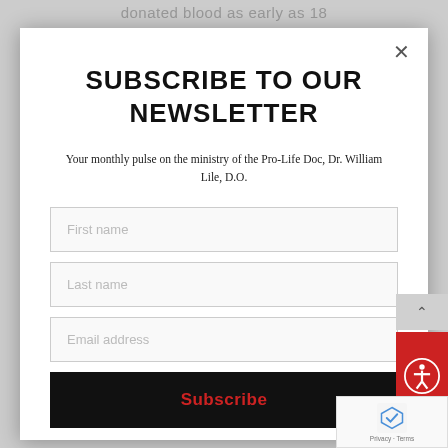donated blood as early as 18
SUBSCRIBE TO OUR NEWSLETTER
Your monthly pulse on the ministry of the Pro-Life Doc, Dr. William Lile, D.O.
First name
Last name
Email address
Subscribe